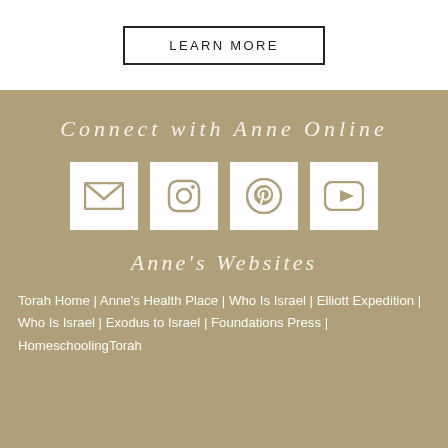LEARN MORE
Connect with Anne Online
[Figure (infographic): Four white square icon buttons on a tan/khaki background: email/envelope icon, Instagram icon, Pinterest icon, YouTube play button icon]
Anne's Websites
Torah Home | Anne's Health Place | Who Is Israel | Elliott Expedition | Who Is Israel | Exodus to Israel | Foundations Press | HomeschoolingTorah